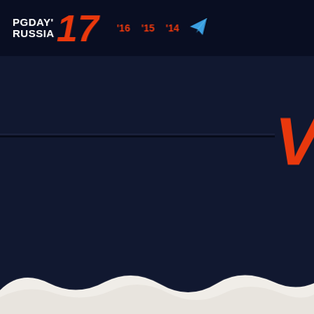PGDAY'RUSSIA '17 '16 '15 '14
[Figure (logo): PGDay Russia 2017 conference website header with logo, navigation links '16 '15 '14, and Telegram icon]
V